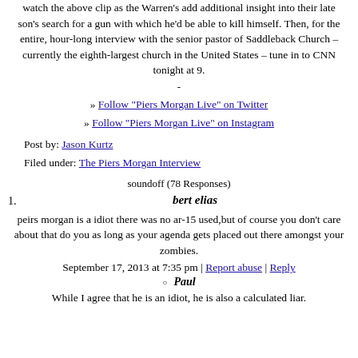watch the above clip as the Warren's add additional insight into their late son's search for a gun with which he'd be able to kill himself. Then, for the entire, hour-long interview with the senior pastor of Saddleback Church – currently the eighth-largest church in the United States – tune in to CNN tonight at 9.
-
» Follow "Piers Morgan Live" on Twitter
» Follow "Piers Morgan Live" on Instagram
Post by: Jason Kurtz
Filed under: The Piers Morgan Interview
soundoff (78 Responses)
1.
bert elias
peirs morgan is a idiot there was no ar-15 used,but of course you don't care about that do you as long as your agenda gets placed out there amongst your zombies.
September 17, 2013 at 7:35 pm | Report abuse | Reply
Paul
While I agree that he is an idiot, he is also a calculated liar.